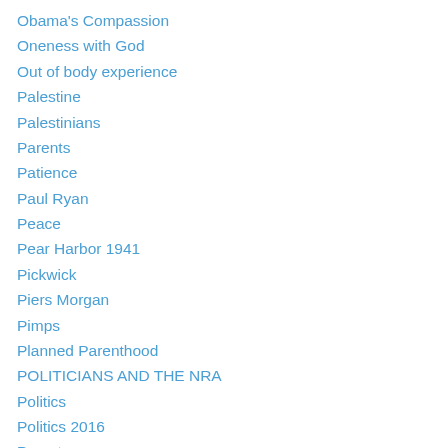Obama's Compassion
Oneness with God
Out of body experience
Palestine
Palestinians
Parents
Patience
Paul Ryan
Peace
Pear Harbor 1941
Pickwick
Piers Morgan
Pimps
Planned Parenthood
POLITICIANS AND THE NRA
Politics
Politics 2016
Poverty
PRECIOUS CHILDREN
Presidency 2016